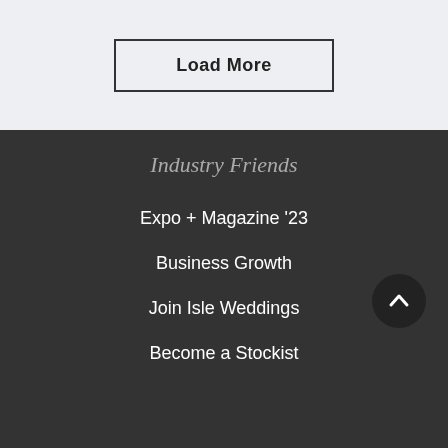Load More
Industry Friends
Expo + Magazine '23
Business Growth
Join Isle Weddings
Become a Stockist
[Figure (other): Scroll-to-top button: dark circle with upward chevron arrow]